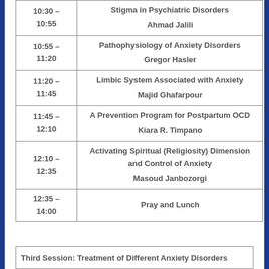| Time | Event |
| --- | --- |
| 10:30 – 10:55 | Stigma in Psychiatric Disorders
Ahmad Jalili |
| 10:55 – 11:20 | Pathophysiology of Anxiety Disorders
Gregor Hasler |
| 11:20 – 11:45 | Limbic System Associated with Anxiety
Majid Ghafarpour |
| 11:45 – 12:10 | A Prevention Program for Postpartum OCD
Kiara R. Timpano |
| 12:10 – 12:35 | Activating Spiritual (Religiosity) Dimension and Control of Anxiety
Masoud Janbozorgi |
| 12:35 – 14:00 | Pray and Lunch |
Third Session: Treatment of Different Anxiety Disorders